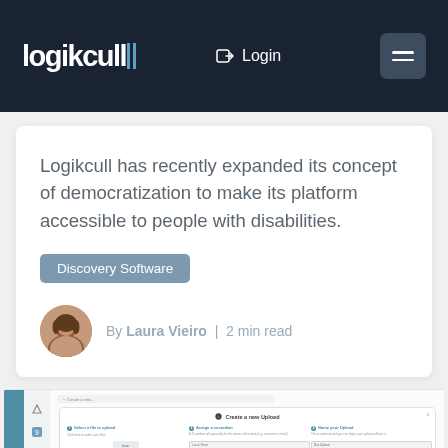[Figure (screenshot): Logikcull website header with logo, Login link, and hamburger menu on dark navy background]
Logikcull has recently expanded its concept of democratization to make its platform accessible to people with disabilities.
Discovery Software
By Laura Vieiro | 2 min read
[Figure (screenshot): Logikcull application screenshot showing a 'Create a new Upload' dialog with three steps: Select a file to upload, Assign a custodian, Name your Upload]